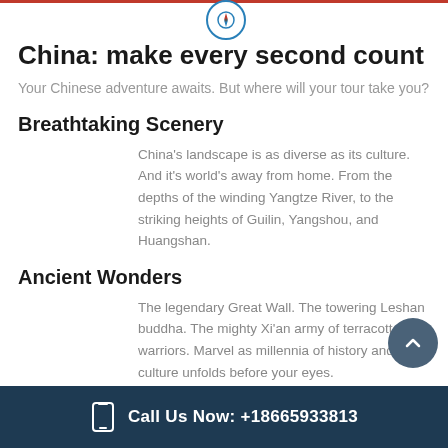China: make every second count
Your Chinese adventure awaits. But where will your tour take you?
Breathtaking Scenery
China's landscape is as diverse as its culture. And it's world's away from home. From the depths of the winding Yangtze River, to the striking heights of Guilin, Yangshou, and Huangshan.
Ancient Wonders
The legendary Great Wall. The towering Leshan buddha. The mighty Xi'an army of terracotta warriors. Marvel as millennia of history and culture unfolds before your eyes.
Call Us Now: +18665933813